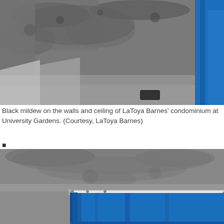[Figure (photo): Photo showing black mildew on the walls and ceiling of a room, with a blue curtain visible on the right side.]
Black mildew on the walls and ceiling of LaToya Barnes' condominium at University Gardens. (Courtesy, LaToya Barnes)
[Figure (photo): Photo showing mildew-covered ceiling and wall near a window with a blue curtain draped across the bottom of the frame.]